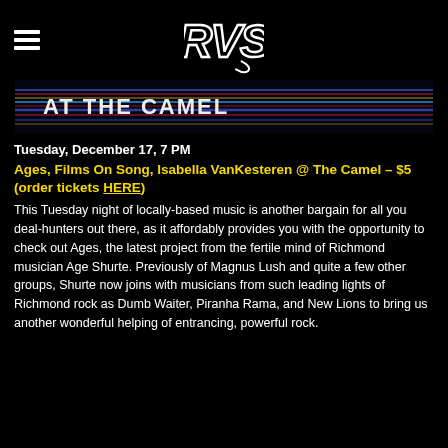[Figure (logo): RVS stylized logo in white on black background]
[Figure (photo): Banner image reading AT THE CAMEL with colorful motion-blur light streaks on dark background]
Tuesday, December 17, 7 PM
Ages, Films On Song, Isabella VanKesteren @ The Camel – $5 (order tickets HERE)
This Tuesday night of locally-based music is another bargain for all you deal-hunters out there, as it affordably provides you with the opportunity to check out Ages, the latest project from the fertile mind of Richmond musician Age Shurte. Previously of Magnus Lush and quite a few other groups, Shurte now joins with musicians from such leading lights of Richmond rock as Dumb Waiter, Piranha Rama, and New Lions to bring us another wonderful helping of entrancing, powerful rock.